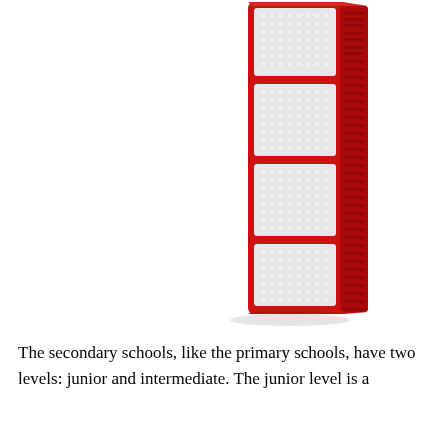[Figure (photo): A tall, narrow red LED grow light panel shown in profile/side view. The panel is vertical with multiple sections of white LED bulbs arranged in rectangular grids, set in a bright red frame. The right side shows ventilation slots. The panel is angled slightly showing both the front face with LEDs and the right edge with heat sinks.]
The secondary schools, like the primary schools, have two levels: junior and intermediate. The junior level is a